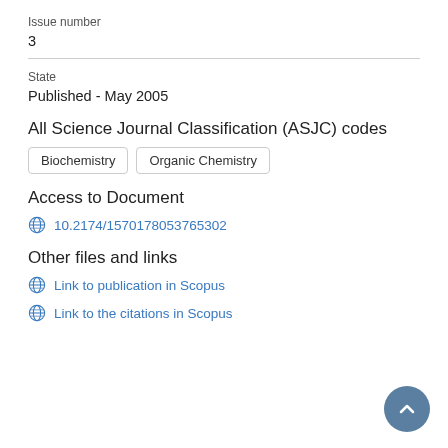Issue number
3
State
Published - May 2005
All Science Journal Classification (ASJC) codes
Biochemistry
Organic Chemistry
Access to Document
10.2174/1570178053765302
Other files and links
Link to publication in Scopus
Link to the citations in Scopus